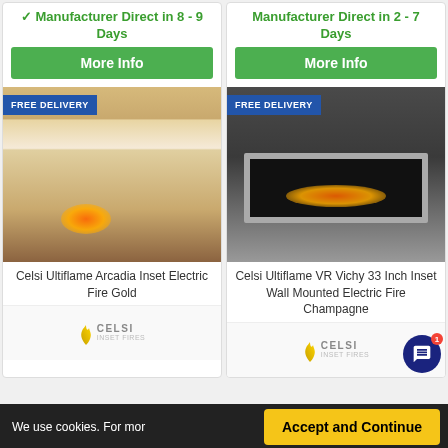✓ Manufacturer Direct in 8 - 9 Days
Manufacturer Direct in 2 - 7 Days
More Info
More Info
[Figure (photo): Celsi Ultiflame Arcadia Inset Electric Fire Gold in an oak fireplace surround with FREE DELIVERY badge]
[Figure (photo): Celsi Ultiflame VR Vichy 33 Inch Inset Wall Mounted Electric Fire Champagne on dark wall with FREE DELIVERY badge]
Celsi Ultiflame Arcadia Inset Electric Fire Gold
Celsi Ultiflame VR Vichy 33 Inch Inset Wall Mounted Electric Fire Champagne
[Figure (logo): CELSI brand logo]
[Figure (logo): CELSI brand logo]
We use cookies. For mor...
Accept and Continue